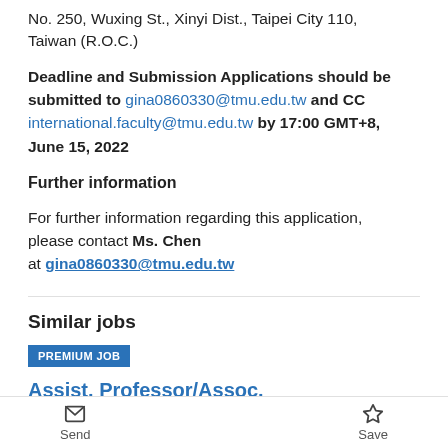No. 250, Wuxing St., Xinyi Dist., Taipei City 110, Taiwan (R.O.C.)
Deadline and Submission Applications should be submitted to gina0860330@tmu.edu.tw and CC international.faculty@tmu.edu.tw by 17:00 GMT+8, June 15, 2022
Further information
For further information regarding this application, please contact Ms. Chen at gina0860330@tmu.edu.tw
Similar jobs
PREMIUM JOB
Assist. Professor/Assoc.
Professor/Professor Clinical Med...
Send   Save